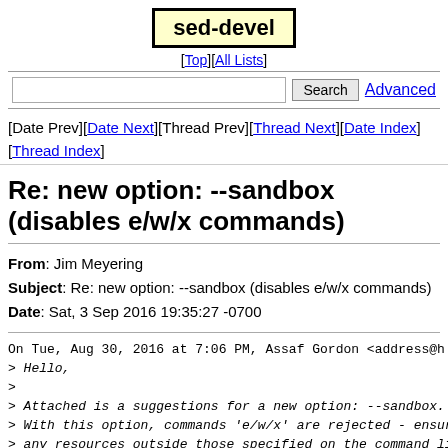sed-devel
[Top][All Lists]
[Date Prev][Date Next][Thread Prev][Thread Next][Date Index][Thread Index]
Re: new option: --sandbox (disables e/w/x commands)
From: Jim Meyering
Subject: Re: new option: --sandbox (disables e/w/x commands)
Date: Sat, 3 Sep 2016 19:35:27 -0700
On Tue, Aug 30, 2016 at 7:06 PM, Assaf Gordon <address@h
> Hello,
>
> Attached is a suggestions for a new option: --sandbox.
> With this option, commands 'e/w/x' are rejected - ensur
> any resources outside those specified on the command li
>
> A more detailed description is here: